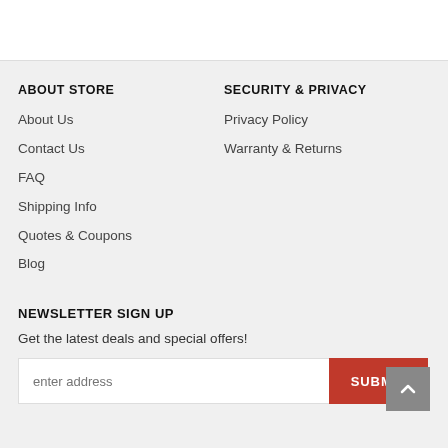ABOUT STORE
About Us
Contact Us
FAQ
Shipping Info
Quotes & Coupons
Blog
SECURITY & PRIVACY
Privacy Policy
Warranty & Returns
NEWSLETTER SIGN UP
Get the latest deals and special offers!
enter address
SUBMIT